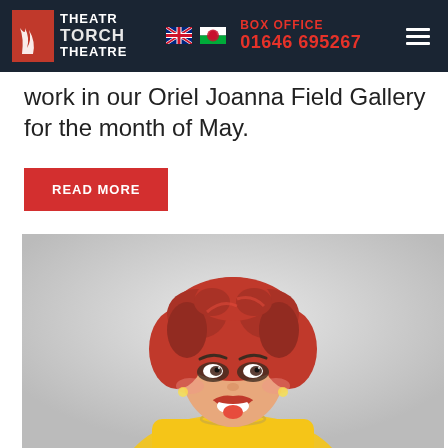Theatr Torch Theatre | BOX OFFICE 01646 695267
work in our Oriel Joanna Field Gallery for the month of May.
READ MORE
[Figure (photo): A performer in drag with a voluminous red wig, dramatic makeup with dark eye shadow, bright red lips open in an expression of excitement, wearing a sparkly necklace and yellow outfit, photographed against a light grey background.]